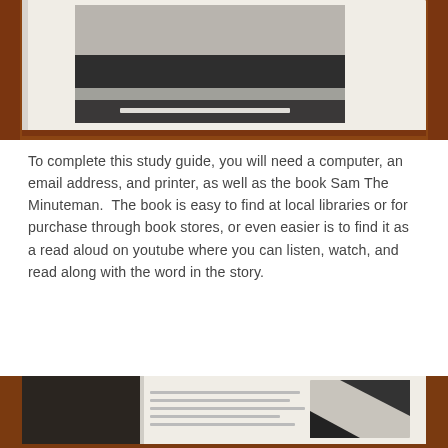[Figure (photo): Photo of a white-covered book (Sam The Minuteman) lying on a wooden surface, showing the top cover with a black-and-white winter scene illustration.]
To complete this study guide, you will need a computer, an email address, and printer, as well as the book Sam The Minuteman.  The book is easy to find at local libraries or for purchase through book stores, or even easier is to find it as a read aloud on youtube where you can listen, watch, and read along with the word in the story.
[Figure (photo): Photo of the open book Sam The Minuteman showing interior pages with black-and-white illustrations, placed on a wooden surface.]